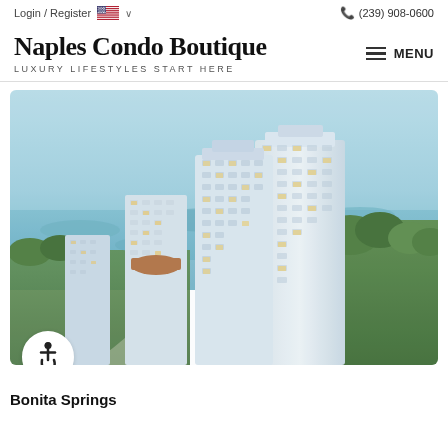Login / Register  🇺🇸 ∨    ☎ (239) 908-0600
Naples Condo Boutique
LUXURY LIFESTYLES START HERE
MENU
[Figure (photo): Aerial rendering of luxury high-rise condominium towers in Bonita Springs, Florida, with waterways and green landscape in the background.]
Bonita Springs